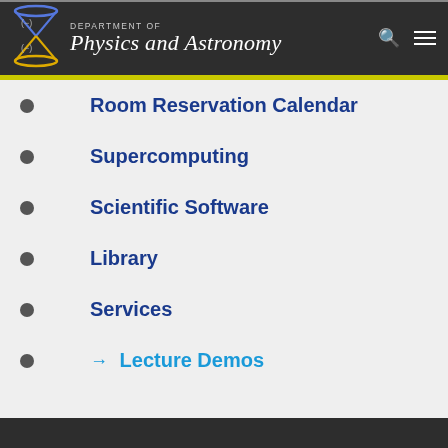DEPARTMENT OF Physics and Astronomy
Room Reservation Calendar
Supercomputing
Scientific Software
Library
Services
→ Lecture Demos